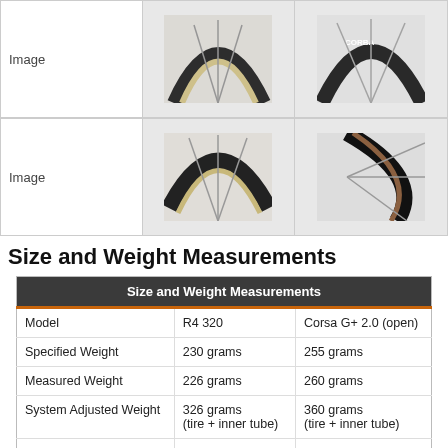[Figure (photo): Top row: two bicycle tire close-up images on a wheel with spokes. First image shows beige/tan sidewall tire, second shows Corsa branded tire.]
[Figure (photo): Bottom row: two more bicycle tire close-up images. First shows tan sidewall tire tread on wheel, second shows brown/tan sidewall tire on wheel.]
Size and Weight Measurements
|  | Size and Weight Measurements |  |
| --- | --- | --- |
| Model | R4 320 | Corsa G+ 2.0 (open) |
| Specified Weight | 230 grams | 255 grams |
| Measured Weight | 226 grams | 260 grams |
| System Adjusted Weight | 326 grams
(tire + inner tube) | 360 grams
(tire + inner tube) |
| Measured Width | 25 mm (un-round) | 27 mm (un-round) |